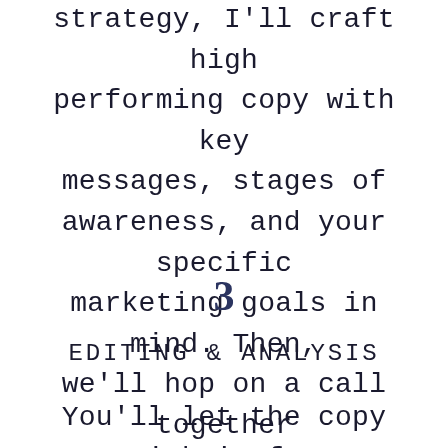strategy, I'll craft high performing copy with key messages, stages of awareness, and your specific marketing goals in mind. Then, we'll hop on a call together where I present your copy.
3
EDITING & ANALYSIS
You'll let the copy sink in for